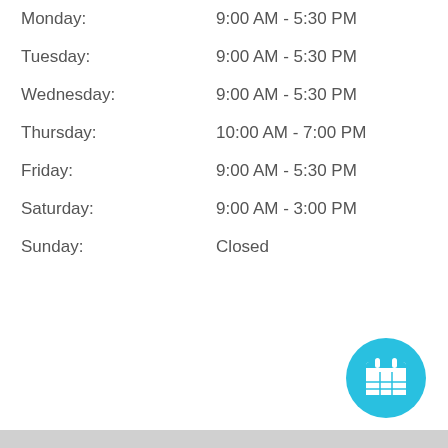| Day | Hours |
| --- | --- |
| Monday: | 9:00 AM - 5:30 PM |
| Tuesday: | 9:00 AM - 5:30 PM |
| Wednesday: | 9:00 AM - 5:30 PM |
| Thursday: | 10:00 AM - 7:00 PM |
| Friday: | 9:00 AM - 5:30 PM |
| Saturday: | 9:00 AM - 3:00 PM |
| Sunday: | Closed |
[Figure (illustration): Cyan circular button with a white calendar icon]